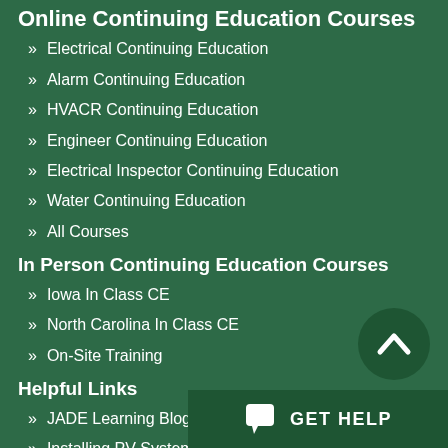Online Continuing Education Courses
Electrical Continuing Education
Alarm Continuing Education
HVACR Continuing Education
Engineer Continuing Education
Electrical Inspector Continuing Education
Water Continuing Education
All Courses
In Person Continuing Education Courses
Iowa In Class CE
North Carolina In Class CE
On-Site Training
Helpful Links
JADE Learning Blog
Installing PV Systems
Testimonials
State Reciprocity Details
FAQs
Privacy Policy